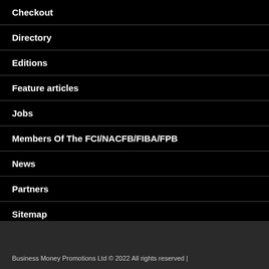Checkout
Directory
Editions
Feature articles
Jobs
Members Of The FCI/NACFB/FIBA/FPB
News
Partners
Sitemap
Business Money Promotions Ltd © 2022 All rights reserved |